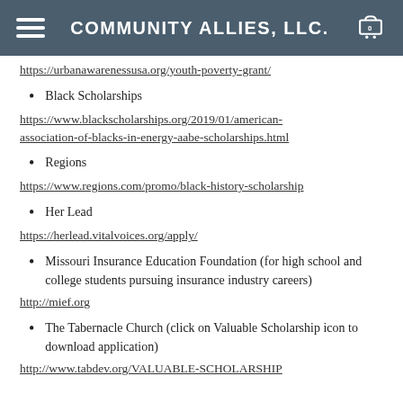COMMUNITY ALLIES, LLC.
https://urbanawarenessusa.org/youth-poverty-grant/
Black Scholarships
https://www.blackscholarships.org/2019/01/american-association-of-blacks-in-energy-aabe-scholarships.html
Regions
https://www.regions.com/promo/black-history-scholarship
Her Lead
https://herlead.vitalvoices.org/apply/
Missouri Insurance Education Foundation (for high school and college students pursuing insurance industry careers)
http://mief.org
The Tabernacle Church (click on Valuable Scholarship icon to download application)
http://www.tabdev.org/VALUABLE-SCHOLARSHIP